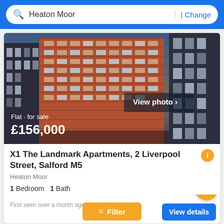Heaton Moor | Change
[Figure (photo): High-rise brick apartment building complex with balconies, sunset background, urban setting. Shows the X1 The Landmark Apartments building. Overlay text reads 'Flat · for sale £156,000' and 'View photo >']
X1 The Landmark Apartments, 2 Liverpool Street, Salford M5
Heaton Moor
1 Bedroom  1 Bath
First seen over a month ago
Filter
View details